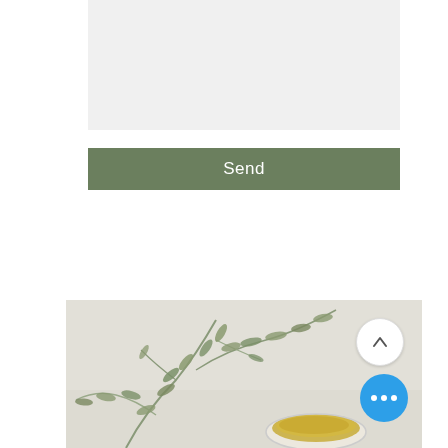Message
Send
[Figure (photo): A photo of olive branches with small leaves and a bowl of olive oil on a white/light surface, with a circular up-arrow button and a blue circular more-options (ellipsis) button overlaid on the bottom right.]